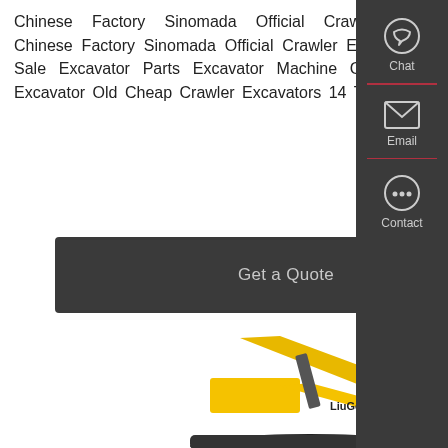Chinese Factory Sinomada Official Crawler Excavator Xe470c In Vietnam, Find Complete Details about Chinese Factory Sinomada Official Crawler Excavator Xe470c In Vietnam,40ton Excavator Mini Excavator For Sale Excavator Parts Excavator Machine Cheap Mini Excavator Excavator Bucket,Bucket Excavator Buy Excavator Old Cheap Crawler Excavators 14 Ton Crawler ...
[Figure (other): Yellow LiuGong mini crawler excavator on white background, showing arm, bucket, and cab]